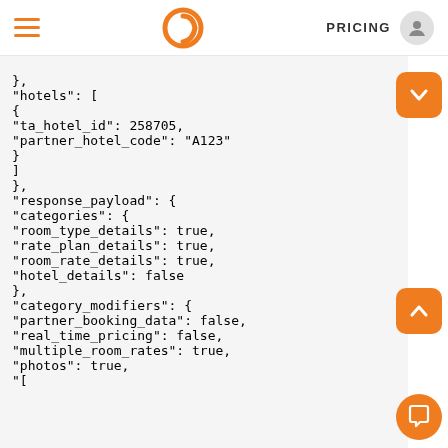PRICING
},
"hotels": [
{
"ta_hotel_id": 258705,
"partner_hotel_code": "A123"
}
]
},
"response_payload": {
"categories": {
"room_type_details": true,
"rate_plan_details": true,
"room_rate_details": true,
"hotel_details": false
},
"category_modifiers": {
"partner_booking_data": false,
"real_time_pricing": false,
"multiple_room_rates": true,
"photos": true,
"[cut off]